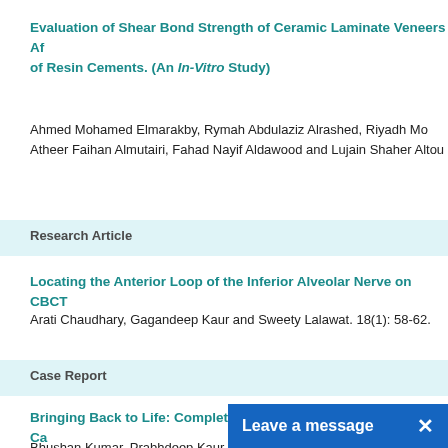Evaluation of Shear Bond Strength of Ceramic Laminate Veneers Af of Resin Cements. (An In-Vitro Study)
Ahmed Mohamed Elmarakby, Rymah Abdulaziz Alrashed, Riyadh Mo Atheer Faihan Almutairi, Fahad Nayif Aldawood and Lujain Shaher Altou
Research Article
Locating the Anterior Loop of the Inferior Alveolar Nerve on CBCT
Arati Chaudhary, Gagandeep Kaur and Sweety Lalawat. 18(1): 58-62.
Case Report
Bringing Back to Life: Complete Rehabilitation of a Facial Injury Ca
Bhushan Kumar, Prabhdeep Kaur Sandhu and A Navin Kumar. 18(1): 63